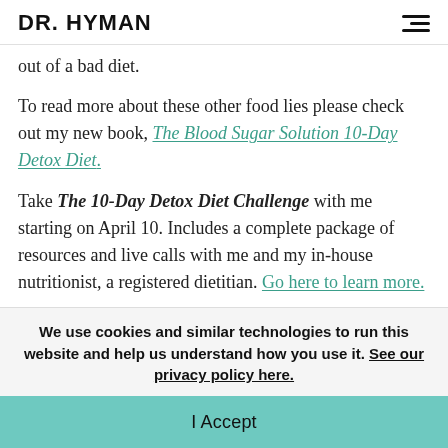DR. HYMAN
out of a bad diet.
To read more about these other food lies please check out my new book, The Blood Sugar Solution 10-Day Detox Diet.
Take The 10-Day Detox Diet Challenge with me starting on April 10. Includes a complete package of resources and live calls with me and my in-house nutritionist, a registered dietitian. Go here to learn more.
We use cookies and similar technologies to run this website and help us understand how you use it. See our privacy policy here.
I Accept